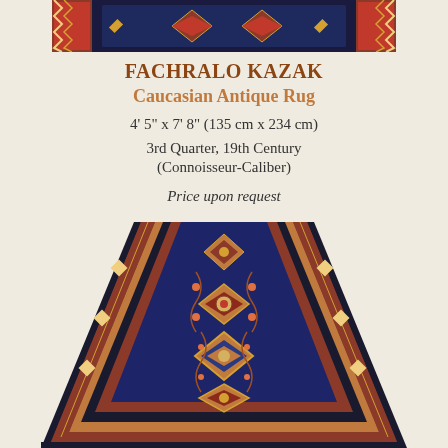[Figure (photo): Top portion of a Fachralo Kazak Caucasian antique rug showing geometric border patterns in dark blue, red, and cream]
FACHRALO KAZAK
Caucasian Antique Rug
4' 5" x 7' 8" (135 cm x 234 cm)
3rd Quarter, 19th Century
(Connoisseur-Caliber)
Price upon request
[Figure (photo): Full length perspective view of a Fachralo Kazak antique rug showing intricate floral and geometric medallion patterns in navy blue, terracotta red, and gold on a dark background with decorative borders]